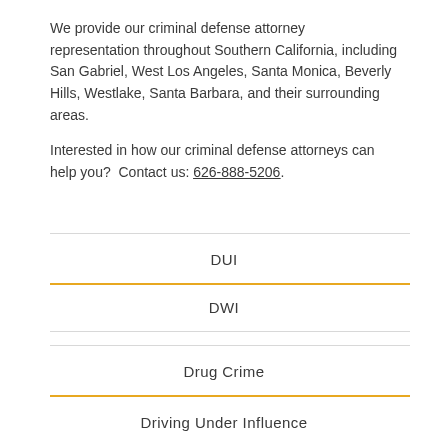We provide our criminal defense attorney representation throughout Southern California, including San Gabriel, West Los Angeles, Santa Monica, Beverly Hills, Westlake, Santa Barbara, and their surrounding areas.
Interested in how our criminal defense attorneys can help you?  Contact us: 626-888-5206.
DUI
DWI
Drug Crime
Driving Under Influence